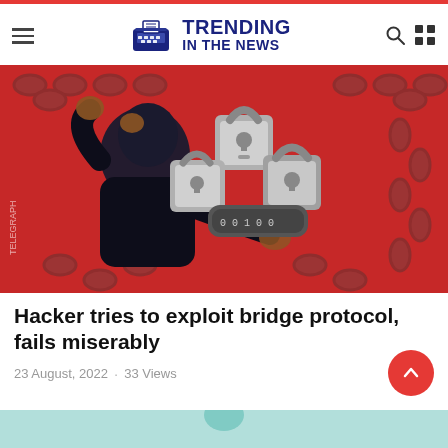TRENDING IN THE NEWS
[Figure (illustration): Illustration of a figure in black clothing with hands on head, surrounded by padlocks and chains on a red background]
Hacker tries to exploit bridge protocol, fails miserably
23 August, 2022  ·  33 Views